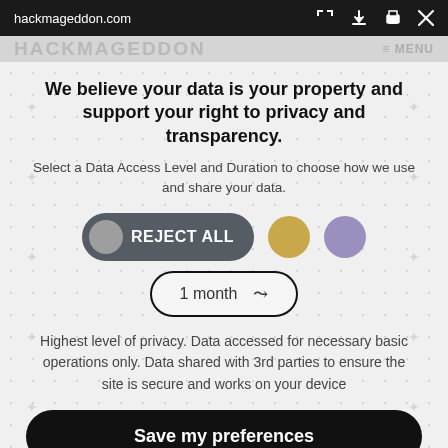hackmageddon.com
We believe your data is your property and support your right to privacy and transparency.
Select a Data Access Level and Duration to choose how we use and share your data.
[Figure (infographic): Privacy consent UI with REJECT ALL button (dark grey pill with grey circle), a gold circle, and a purple circle]
[Figure (infographic): Dropdown selector showing '1 month' with chevron arrow]
Highest level of privacy. Data accessed for necessary basic operations only. Data shared with 3rd parties to ensure the site is secure and works on your device
Save my preferences
Customize